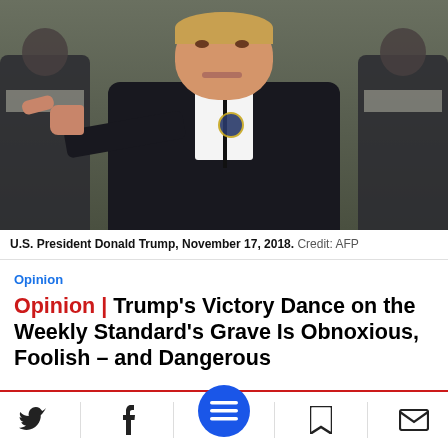[Figure (photo): U.S. President Donald Trump pointing at camera, wearing dark jacket, with Marines in background. November 17, 2018.]
U.S. President Donald Trump, November 17, 2018.  Credit: AFP
Opinion
Opinion | Trump's Victory Dance on the Weekly Standard's Grave Is Obnoxious, Foolish - and Dangerous